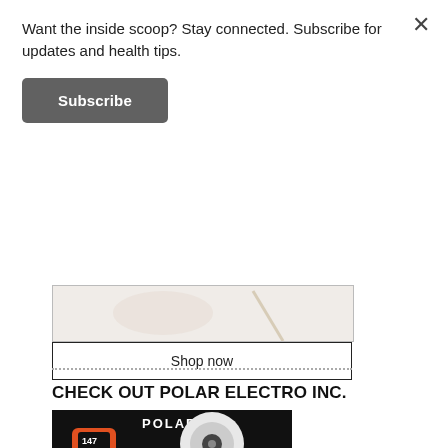Want the inside scoop? Stay connected. Subscribe for updates and health tips.
[Figure (other): Subscribe button — dark gray rounded rectangle with white bold text 'Subscribe']
[Figure (other): Partial product image with 'Shop now' button in a bordered box]
CHECK OUT POLAR ELECTRO INC.
[Figure (photo): Polar brand advertisement showing two Polar smartwatches (one orange/black, one white/silver) with POLAR logo and 'POLAR M430' text at bottom on black background]